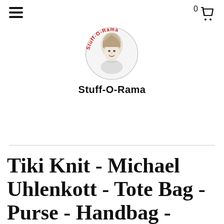≡  0 🛒
[Figure (logo): Circular logo with vintage woman illustration and red curved text reading Stuff-O-Rama around the top]
Stuff-O-Rama
Tiki Knit - Michael Uhlenkott - Tote Bag - Purse - Handbag - Crossbody - Canvas - MCM - Tiki - Polynesian - Hawaii - Christmas Ugly Sweater